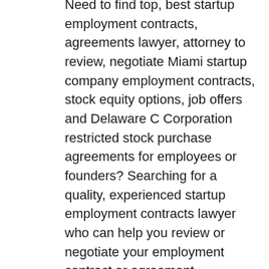Need to find top, best startup employment contracts, agreements lawyer, attorney to review, negotiate Miami startup company employment contracts, stock equity options, job offers and Delaware C Corporation restricted stock purchase agreements for employees or founders? Searching for a quality, experienced startup employment contracts lawyer who can help you review or negotiate your employment contract or agreement successfully isn't the easiest thing to do. Don't expect to find a good lawyer by just doing a Google search. Andrew S. Bosin LLC is a top rated startup employment contracts negotiations review lawyer attorney who can effectively draft and negotiate your Miami, FL startup employment agreements & contracts along with founders restricted stock purchase agreements. Andrew is located in New